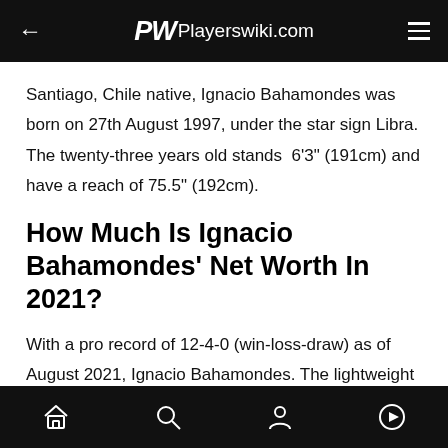PW Playerswiki.com
Santiago, Chile native, Ignacio Bahamondes was born on 27th August 1997, under the star sign Libra. The twenty-three years old stands  6'3" (191cm) and have a reach of 75.5" (192cm).
How Much Is Ignacio Bahamondes' Net Worth In 2021?
With a pro record of 12-4-0 (win-loss-draw) as of August 2021, Ignacio Bahamondes. The lightweight fighter is currently signed to the UFC.
ADVERTISEMENT
Home Search Profile Play